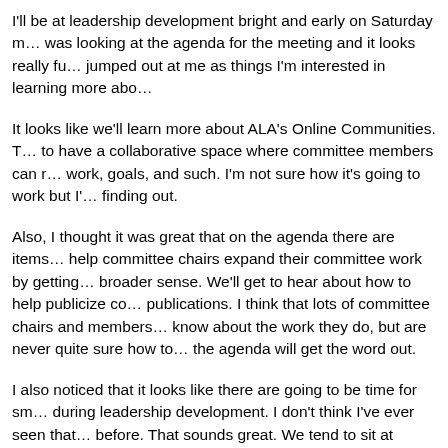I'll be at leadership development bright and early on Saturday m... was looking at the agenda for the meeting and it looks really fu... jumped out at me as things I'm interested in learning more abo...
It looks like we'll learn more about ALA's Online Communities. T... to have a collaborative space where committee members can r... work, goals, and such. I'm not sure how it's going to work but I'... finding out.
Also, I thought it was great that on the agenda there are items... help committee chairs expand their committee work by getting... broader sense. We'll get to hear about how to help publicize co... publications. I think that lots of committee chairs and members... know about the work they do, but are never quite sure how to... the agenda will get the word out.
I also noticed that it looks like there are going to be time for sm... during leadership development. I don't think I've ever seen that... before. That sounds great. We tend to sit at Leadership Develo... questions as part of a large group. To be able to talk to others... great.